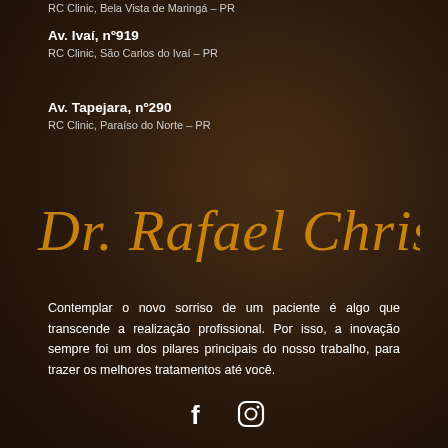RC Clinic, Bela Vista de Maringá – PR
Av. Ivaí, nº919
RC Clinic, São Carlos do Ivaí – PR
Av. Tapejara, nº290
RC Clinic, Paraíso do Norte – PR
[Figure (illustration): Cursive golden signature reading 'Dr. Rafael Christiano']
Contemplar o novo sorriso de um paciente é algo que transcende a realização profissional. Por isso, a inovação sempre foi um dos pilares principais do nosso trabalho, para trazer os melhores tratamentos até você.
[Figure (other): Social media icons: Facebook (f) and Instagram (camera) in white on dark background]